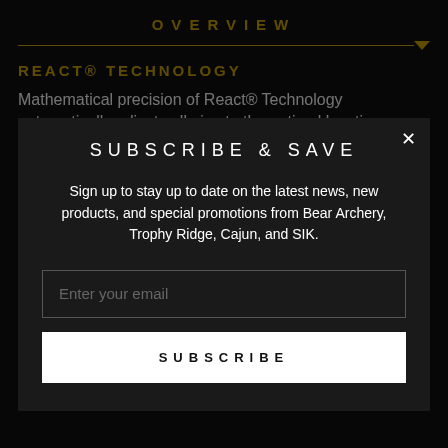OVERVIEW
REACT® TECHNOLOGY
Mathematical precision of React® Technology automatically adjusts all pins to the optimal location
SUBSCRIBE & SAVE
Sign up to stay up to date on the latest news, new products, and special promotions from Bear Archery, Trophy Ridge, Cajun, and SIK.
Enter your email
SUBSCRIBE